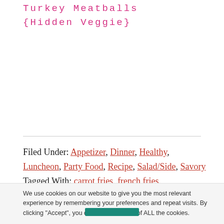Turkey Meatballs {Hidden Veggie}
Filed Under: Appetizer, Dinner, Healthy, Luncheon, Party Food, Recipe, Salad/Side, Savory Tagged With: carrot fries, french fries
We use cookies on our website to give you the most relevant experience by remembering your preferences and repeat visits. By clicking “Accept”, you consent to the use of ALL the cookies.